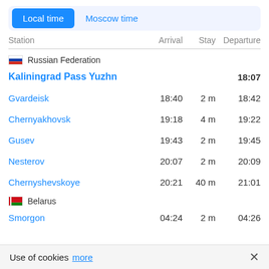[Figure (screenshot): Toggle buttons: 'Local time' (active, blue filled) and 'Moscow time' (inactive, blue text)]
| Station | Arrival | Stay | Departure |
| --- | --- | --- | --- |
| 🇷🇺 Russian Federation |  |  |  |
| Kaliningrad Pass Yuzhn |  |  | 18:07 |
| Gvardeisk | 18:40 | 2 m | 18:42 |
| Chernyakhovsk | 19:18 | 4 m | 19:22 |
| Gusev | 19:43 | 2 m | 19:45 |
| Nesterov | 20:07 | 2 m | 20:09 |
| Chernyshevskoye | 20:21 | 40 m | 21:01 |
| 🇧🇾 Belarus |  |  |  |
| Smorgon | 04:24 | 2 m | 04:26 |
Use of cookies more